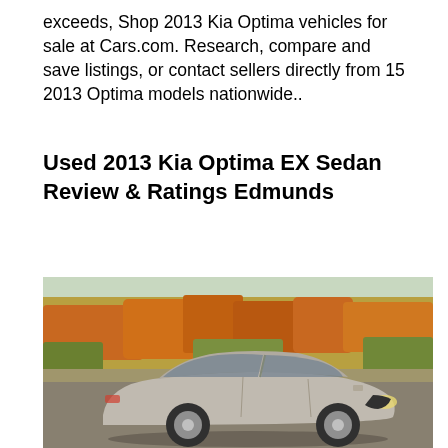exceeds, Shop 2013 Kia Optima vehicles for sale at Cars.com. Research, compare and save listings, or contact sellers directly from 15 2013 Optima models nationwide..
Used 2013 Kia Optima EX Sedan Review & Ratings Edmunds
[Figure (photo): Photo of a silver 2013 Kia Optima sedan parked on a road with autumn foliage background in orange and yellow tones.]